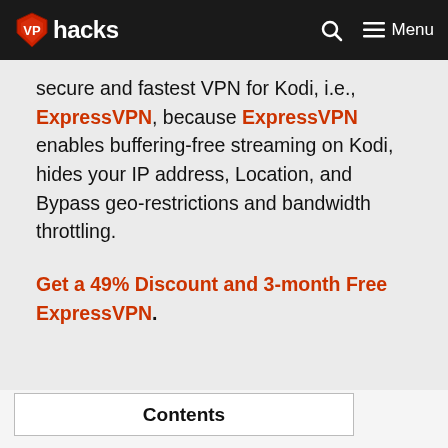VPhacks  Menu
secure and fastest VPN for Kodi, i.e., ExpressVPN, because ExpressVPN enables buffering-free streaming on Kodi, hides your IP address, Location, and Bypass geo-restrictions and bandwidth throttling.
Get a 49% Discount and 3-month Free ExpressVPN.
Contents